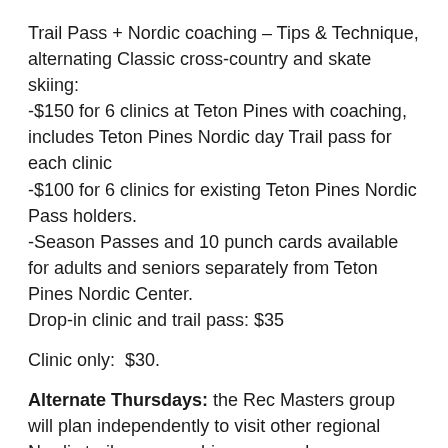Trail Pass + Nordic coaching – Tips & Technique, alternating Classic cross-country and skate skiing:
-$150 for 6 clinics at Teton Pines with coaching, includes Teton Pines Nordic day Trail pass for each clinic
-$100 for 6 clinics for existing Teton Pines Nordic Pass holders.
-Season Passes and 10 punch cards available for adults and seniors separately from Teton Pines Nordic Center.
Drop-in clinic and trail pass: $35
Clinic only:  $30.
Alternate Thursdays: the Rec Masters group will plan independently to visit other regional Nordic trails , no coaching, car pool, pay-as you go (i.e. GTNP, Trail Creek, Cache , Game, Teton Canyon, Targhee, etc.)